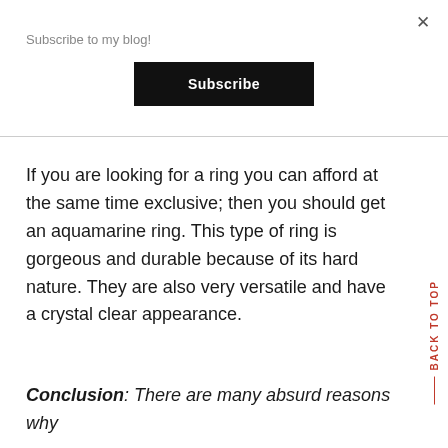×
Subscribe to my blog!
Subscribe
If you are looking for a ring you can afford at the same time exclusive; then you should get an aquamarine ring. This type of ring is gorgeous and durable because of its hard nature. They are also very versatile and have a crystal clear appearance.
BACK TO TOP
Conclusion: There are many absurd reasons why